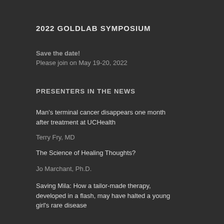2022 GOLDLAB SYMPOSIUM
Save the date!
Please join on May 19-20, 2022
PRESENTERS IN THE NEWS
Man's terminal cancer disappears one month after treatment at UCHealth
Terry Fry, MD
The Science of Healing Thoughts?
Jo Marchant, Ph.D.
Saving Mila: How a tailor-made therapy, developed in a flash, may have halted a young girl's rare disease